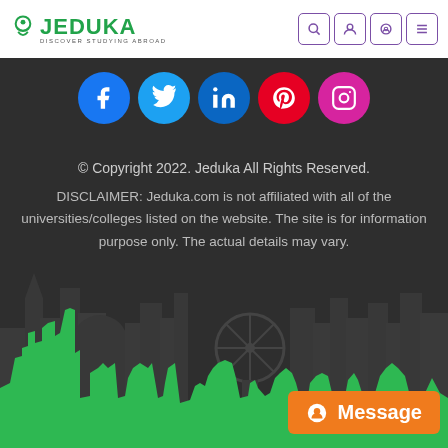JEDUKA — DISCOVER STUDYING ABROAD
[Figure (illustration): Row of five social media icon circles: Facebook (blue), Twitter (cyan), LinkedIn (blue), Pinterest (red), Instagram (pink/magenta)]
© Copyright 2022. Jeduka All Rights Reserved.
DISCLAIMER: Jeduka.com is not affiliated with all of the universities/colleges listed on the website. The site is for information purpose only. The actual details may vary.
[Figure (illustration): Green and dark silhouette city skyline with landmarks including a Ferris wheel]
Message